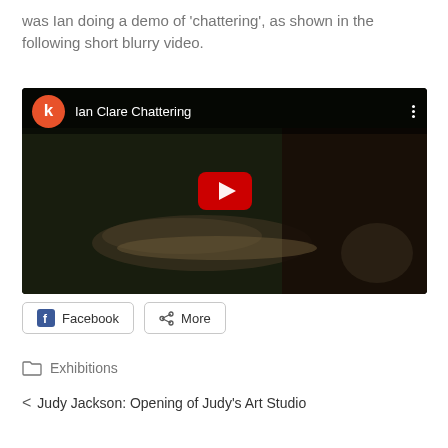was Ian doing a demo of 'chattering', as shown in the following short blurry video.
[Figure (screenshot): Embedded YouTube video thumbnail showing a person doing ceramics chattering demo, titled 'Ian Clare Chattering', with a red play button in the center and a 'k' avatar icon in the top left.]
Facebook  More
Exhibitions
< Judy Jackson: Opening of Judy's Art Studio